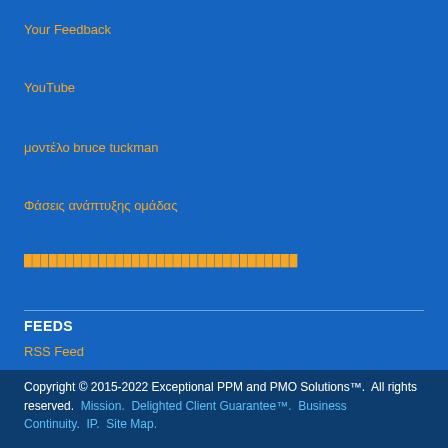Your Feedback
YouTube
μοντέλο bruce tuckman
Φάσεις ανάπτυξης ομάδας
[redacted link]
FEEDS
RSS Feed
Copyright © 2015-2022 Exceptional PPM and PMO Solutions™. All rights reserved. Mission. Delighted Client Guarantee™. Business Continuity. IP. Site Map.